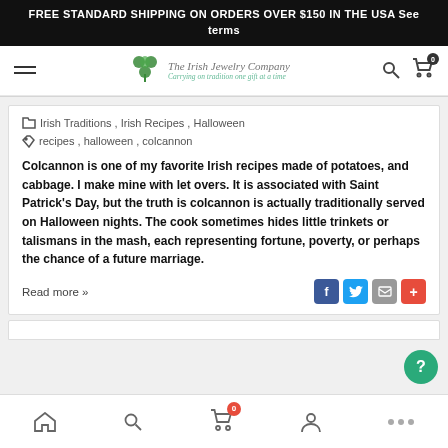FREE STANDARD SHIPPING ON ORDERS OVER $150 IN THE USA See terms
[Figure (logo): The Irish Jewelry Company logo with shamrock and tagline 'Carrying an tradition one gift at a time']
Irish Traditions , Irish Recipes , Halloween
recipes , halloween , colcannon
Colcannon is one of my favorite Irish recipes made of potatoes, and cabbage. I make mine with let overs. It is associated with Saint Patrick's Day, but the truth is colcannon is actually traditionally served on  Halloween nights. The cook sometimes hides little trinkets  or talismans in the mash, each representing fortune, poverty, or perhaps the chance of a future marriage.
Read more »
Bottom navigation bar with home, search, cart (0), account, and more icons